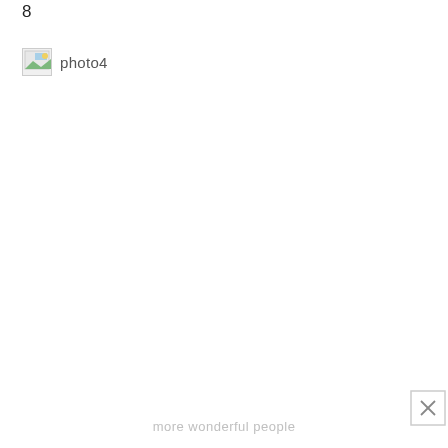8
[Figure (photo): Broken image placeholder icon (small thumbnail with landscape icon) with text 'photo4' to its right]
[Figure (other): Small close button (X) in bottom-right area, gray bordered square with X mark]
more wonderful people